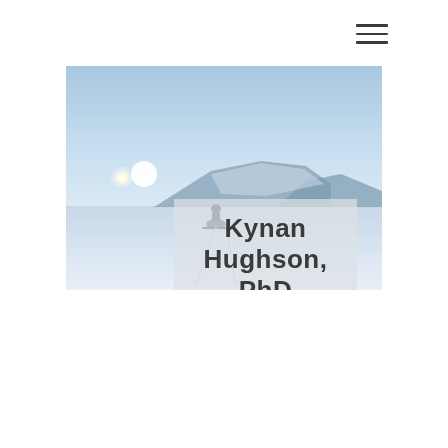[Figure (photo): Hamburger menu icon (three horizontal lines) in the top right area of the page]
[Figure (photo): Arctic/polar landscape photograph showing a vast snowy plain, a snow-covered hill or small mountain in the background, a figure on a snowmobile in the foreground, and a bright sun in a blue sky on the left. Overlaid with a semi-transparent frosted glass box containing the text 'Kynan Hughson, PhD'.]